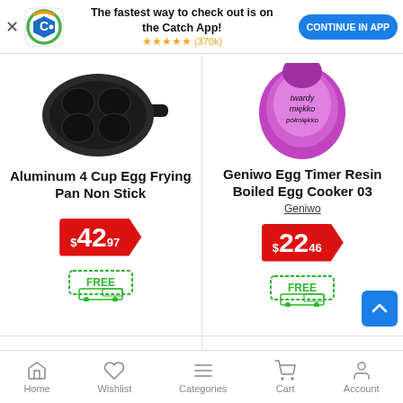[Figure (screenshot): Catch app banner with logo, text 'The fastest way to check out is on the Catch App!', star rating (370k reviews), and 'CONTINUE IN APP' button]
[Figure (photo): Black aluminum 4-cup egg frying pan, non-stick, viewed from above]
[Figure (photo): Pink/purple Geniwo Egg Timer Resin Boiled Egg Cooker 03, egg-shaped with text on it]
Aluminum 4 Cup Egg Frying Pan Non Stick
Geniwo Egg Timer Resin Boiled Egg Cooker 03
Geniwo
$42.97
$22.46
FREE (delivery icon)
FREE (delivery icon)
Home | Wishlist | Categories | Cart | Account